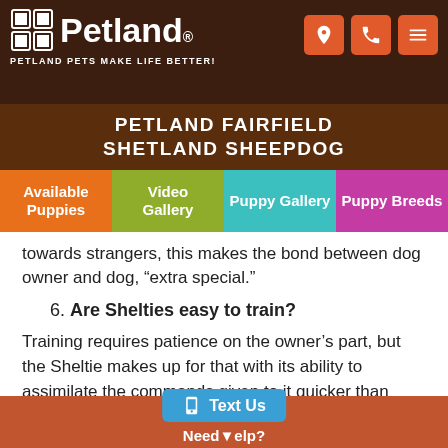Petland — Petland Pets Make Life Better!
PETLAND FAIRFIELD SHETLAND SHEEPDOG
[Figure (screenshot): Navigation bar with four colored buttons: Available Puppies (orange), Video Gallery (olive/green), Puppy Gallery (teal), Puppy Breeds (purple)]
towards strangers, this makes the bond between dog owner and dog, “extra special.”
6. Are Shelties easy to train?
Training requires patience on the owner’s part, but the Sheltie makes up for that with its ability to assimilate the commands given to it quicker than other dog breeds. With time, training your Sheltie will get easier because of their eagerness to please and loving nature.
Text Us | Need Help?